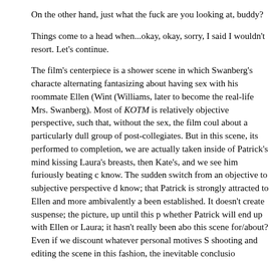On the other hand, just what the fuck are you looking at, buddy?
Things come to a head when...okay, okay, sorry, I said I wouldn't resort. Let's continue.
The film's centerpiece is a shower scene in which Swanberg's character alternating fantasizing about having sex with his roommate Ellen (Wint (Williams, later to become the real-life Mrs. Swanberg). Most of KOTM is relatively objective perspective, such that, without the sex, the film could about a particularly dull group of post-collegiates. But in this scene, its performed to completion, we are actually taken inside of Patrick's mind kissing Laura's breasts, then Kate's, and we see him furiously beating d know. The sudden switch from an objective to subjective perspective d know; that Patrick is strongly attracted to Ellen and more ambivalently a been established. It doesn't create suspense; the picture, up until this p whether Patrick will end up with Ellen or Laura; it hasn't really been abo this scene for/about? Even if we discount whatever personal motives S shooting and editing the scene in this fashion, the inevitable conclusio
Is the “implicit question” Keller mentions posed here? Yes. But it's inextr assertion of male privilege. Why anybody would find this off-putting I h assertion, more cannily played, occurs at the climax of 2008's Nights a Swanberg's character withholds sex from Gerwig's.)